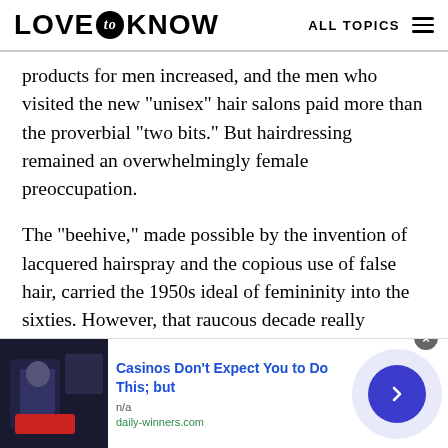LOVE to KNOW | ALL TOPICS
products for men increased, and the men who visited the new "unisex" hair salons paid more than the proverbial "two bits." But hairdressing remained an overwhelmingly female preoccupation.
The "beehive," made possible by the invention of lacquered hairspray and the copious use of false hair, carried the 1950s ideal of femininity into the sixties. However, that raucous decade really belonged to the geometrical cuts that Vidal Sassoon created to fit the latest styles of Mary
[Figure (screenshot): Advertisement banner: image of person on left, text 'Casinos Don’t Expect You to Do This; but' in blue, 'n/a', 'daily-winners.com' in green, close button, and arrow button on right]